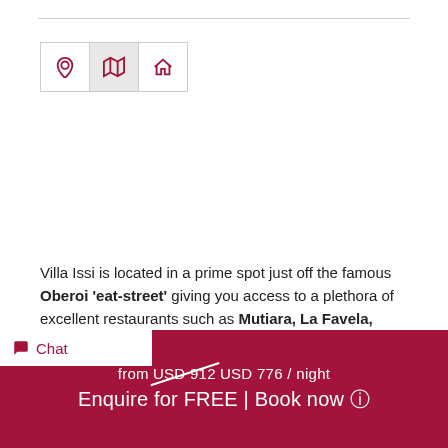[Figure (other): Navigation tab bar with three icon tabs: location pin, map, and home icon. The map tab is active/highlighted.]
Villa Issi is located in a prime spot just off the famous Oberoi 'eat-street' giving you access to a plethora of excellent restaurants such as Mutiara, La Favela, Zibiru and many more. The popular beach club, Ku De Ta, is minutes away from the villa! Also, you have the chance to explore nearby beaches like Gado Gado and Petitenget
from USD 912 USD 776 / night
Enquire for FREE | Book now
Chat